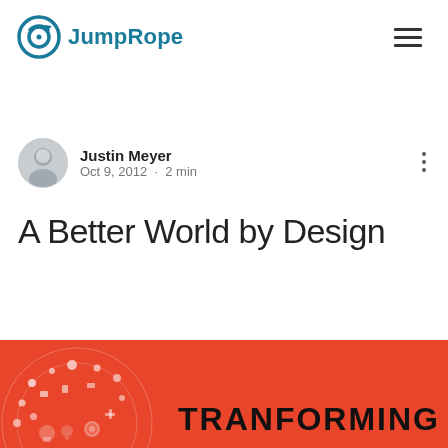JumpRope
Justin Meyer
Oct 9, 2012 · 2 min
A Better World by Design
[Figure (illustration): Infographic banner with red/orange background showing circular icon pattern and the text 'TRANFORMING']